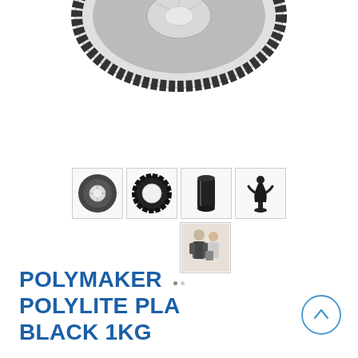[Figure (photo): Top portion of a black 3D printer filament spool on white background, cropped at top of page]
[Figure (photo): Row of four product thumbnail images: (1) black filament spool with white hub, (2) black filament ring viewed from front, (3) black filament cylinder side view, (4) black 3D printed figurine/trophy. A fifth thumbnail below shows a person holding a printed item.]
POLYMAKER POLYLITE PLA BLACK 1KG